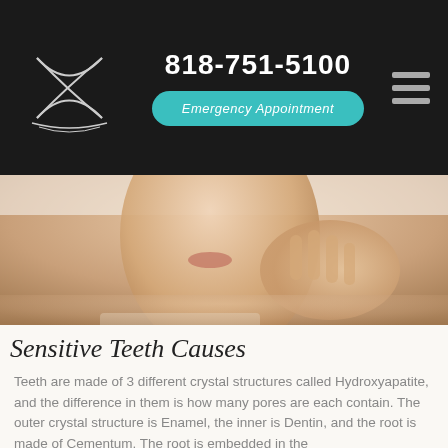818-751-5100 | Emergency Appointment
[Figure (photo): A person touching their jaw/cheek with their hand, suggesting tooth or jaw pain, shown from the nose to the shoulders against a white background.]
Sensitive Teeth Causes
Teeth are made of 3 different crystal structures called Hydroxyapatite, and the difference in them is how many pores are each contain. The outer crystal structure is Enamel, the inner is Dentin, and the root is made of Cementum. The root is embedded in the